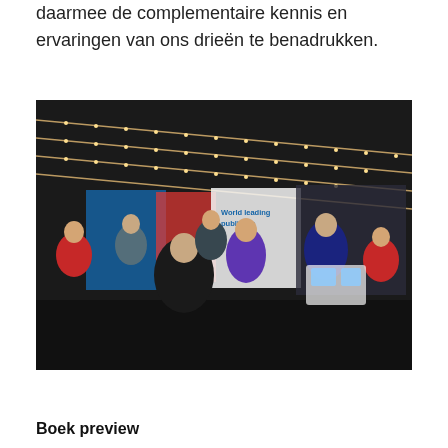daarmee de complementaire kennis en ervaringen van ons drieën te benadrukken.
[Figure (photo): Group of people gathered at an event booth or exhibition stand with banners reading 'World leading publisher', string lights on dark ceiling, people in business attire talking and networking.]
Boek preview